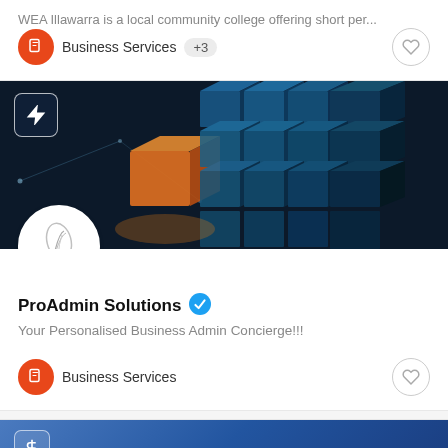WEA Illawarra is a local community college offering short per...
Business Services +3
[Figure (screenshot): ProAdmin Solutions banner image showing 3D blue and orange cubes on dark background]
[Figure (logo): ProAdmin Solutions circular logo with feather/quill design]
ProAdmin Solutions (verified)
Your Personalised Business Admin Concierge!!!
Business Services
[Figure (screenshot): Partial blue banner of a third listing card at the bottom]